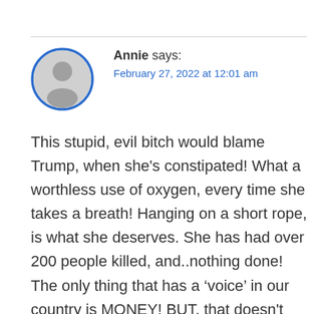[Figure (illustration): Generic grey user avatar icon inside a blue circle border]
Annie says:
February 27, 2022 at 12:01 am
This stupid, evil bitch would blame Trump, when she’s constipated! What a worthless use of oxygen, every time she takes a breath! Hanging on a short rope, is what she deserves. She has had over 200 people killed, and..nothing done! The only thing that has a ‘voice’ in our country is MONEY! BUT, that doesn’t work with God!